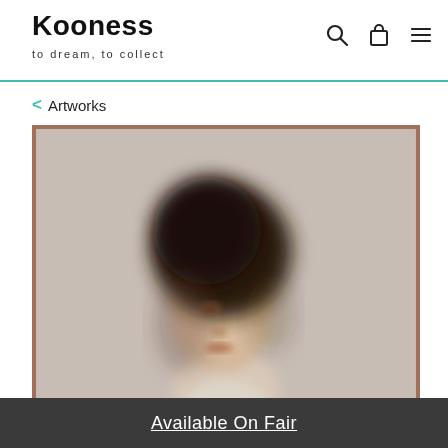Kooness — to dream, to collect
< Artworks
[Figure (photo): A blurred portrait painting of a person with dark hair styled upward, wearing light clothing, displayed in a wooden frame against a light background. The image is intentionally soft/blurred in style.]
Available On Fair